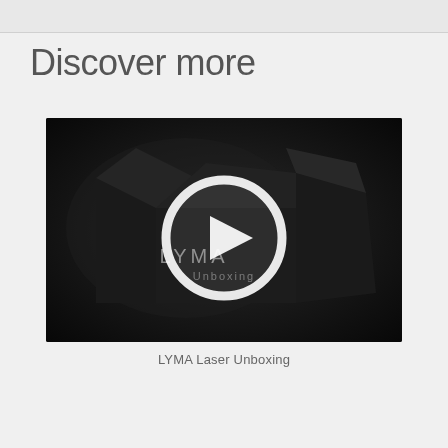Discover more
[Figure (screenshot): Video thumbnail showing a dark background with LYMA branded box and a white play button circle overlay. Text 'Unboxing' visible beneath the play button.]
LYMA Laser Unboxing